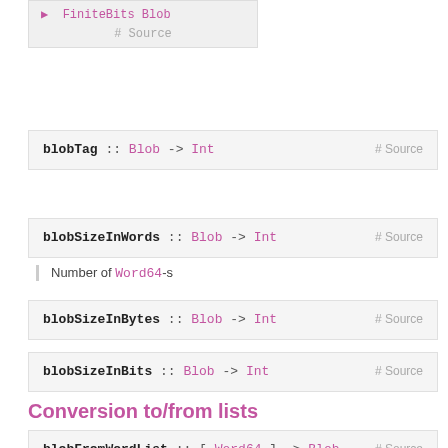[Figure (screenshot): Code box showing FiniteBits Blob with Source link]
blobTag :: Blob -> Int   # Source
blobSizeInWords :: Blob -> Int   # Source
Number of Word64-s
blobSizeInBytes :: Blob -> Int   # Source
blobSizeInBits :: Blob -> Int   # Source
Conversion to/from lists
blobFromWordList :: [Word64] -> Blob   # Source